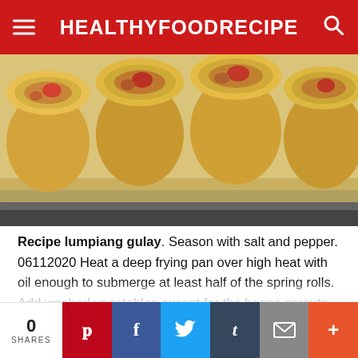HEALTHYFOODRECIPE
[Figure (photo): Close-up photo of lumpia (Filipino spring rolls) on a white plate, golden-yellow wrappers with vegetable filling visible]
Recipe lumpiang gulay. Season with salt and pepper. 06112020 Heat a deep frying pan over high heat with oil enough to submerge at least half of the spring rolls. Add washed vegetables except for the beans sprouts.
Once the vegetables are almost halfway done add fish sauce oyster sauce salt and pepper. Saute the garlic onions and pork and cook until the meat has turned light brown Season with oyster sauce fish. 24122018 Vegetable Egg Rolls...
0 SHARES  Pinterest  Facebook  Twitter  Tumblr  Email  More